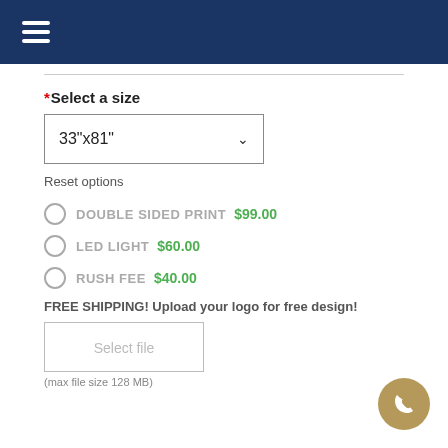*Select a size
33"x81"
Reset options
DOUBLE SIDED PRINT $99.00
LED LIGHT $60.00
RUSH fee $40.00
FREE SHIPPING! Upload your logo for free design!
Select file
(max file size 128 MB)